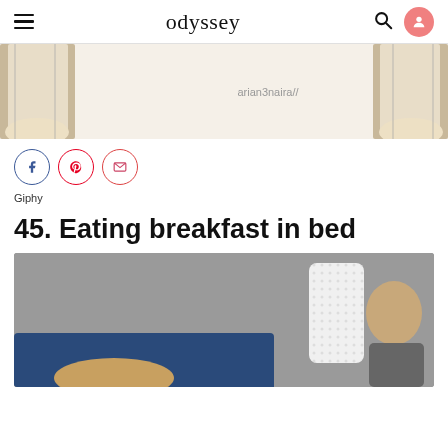odyssey
[Figure (illustration): Partial view of an animated GIF showing curtain-like shapes on left and right sides on a cream background, with watermark text 'arian3naira//' in the center-right area.]
Giphy
45. Eating breakfast in bed
[Figure (photo): Photo of a person (partially visible, blonde hair) in bed with a blue headboard and a man smiling beside a white cylindrical lamp or object, against a grey wall.]